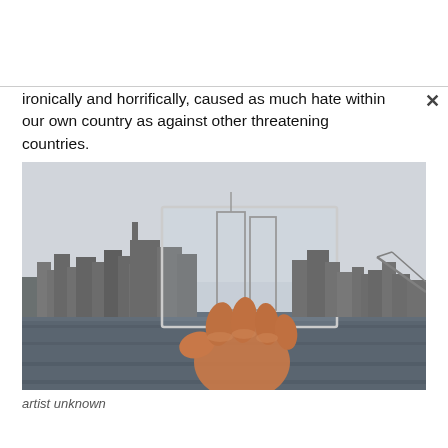ironically and horrifically, caused as much hate within our own country as against other threatening countries.
[Figure (photo): A hand holds up a transparent photograph or glass pane showing the New York City skyline with the outline of the Twin Towers (World Trade Center) visible, overlaid against the actual current NYC skyline across a body of water.]
artist unknown
...